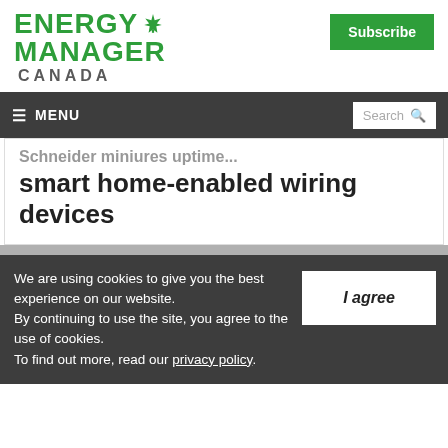ENERGY MANAGER CANADA
≡ MENU
smart home-enabled wiring devices
We are using cookies to give you the best experience on our website. By continuing to use the site, you agree to the use of cookies. To find out more, read our privacy policy.